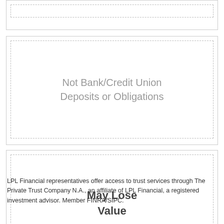[Figure (other): Partial box at top of page, truncated]
Not Bank/Credit Union Deposits or Obligations
May Lose Value
LPL Financial representatives offer access to trust services through The Private Trust Company N.A., an affiliate of LPL Financial, a registered investment advisor. Member FINRA/SIPC.